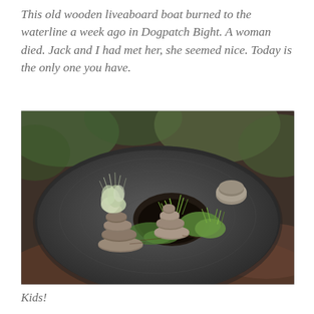This old wooden liveaboard boat burned to the waterline a week ago in Dogpatch Bight. A woman died. Jack and I had met her, she seemed nice. Today is the only one you have.
[Figure (photo): A close-up photograph of a tree stump with small rock cairns and patches of grass and moss growing in a hollow on the stump surface. The background is blurred green and brown foliage.]
Kids!